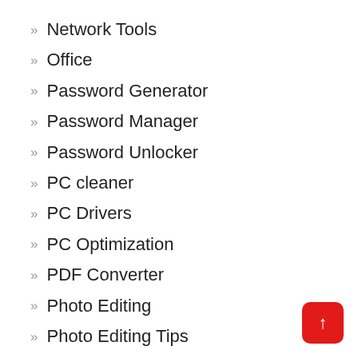Network Tools
Office
Password Generator
Password Manager
Password Unlocker
PC cleaner
PC Drivers
PC Optimization
PDF Converter
Photo Editing
Photo Editing Tips
Photo Recovery